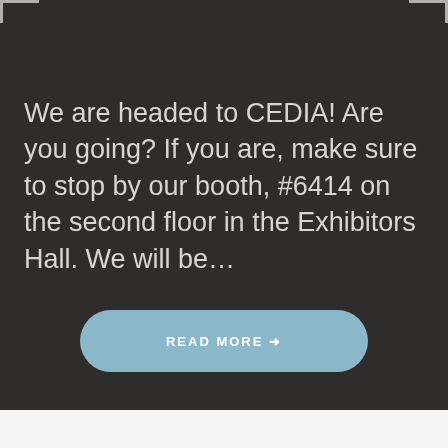We are headed to CEDIA! Are you going? If you are, make sure to stop by our booth, #6414 on the second floor in the Exhibitors Hall. We will be...
READ MORE →
Older posts